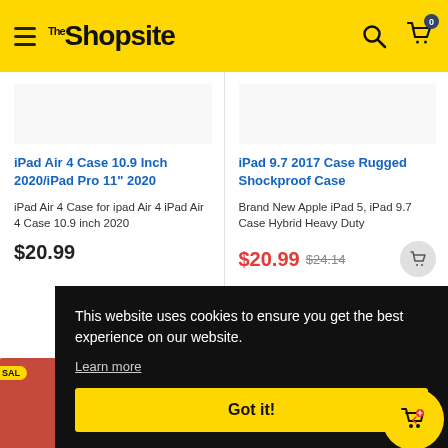TheShopsite
iPad Air 4 Case 10.9 Inch 2020/iPad Pro 11" 2020
iPad Air 4 Case for ipad Air 4 iPad Air 4 Case 10.9 inch 2020
$20.99
iPad 9.7 2017 Case Rugged Shockproof Case
Brand New Apple iPad 5, iPad 9.7 Case Hybrid Heavy Duty
$20.99  $24.14
This website uses cookies to ensure you get the best experience on our website. Learn more
Got it!